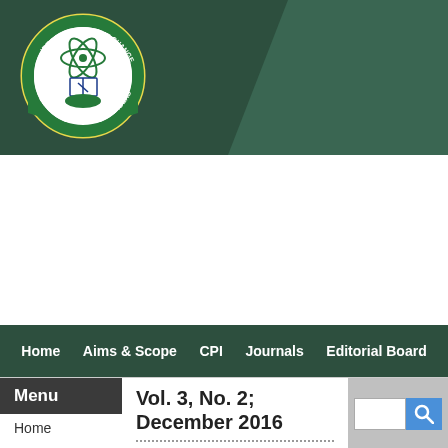[Figure (logo): Center for Promoting Ideas circular logo with atom, book, and hands motif on dark green banner background]
Home | Aims & Scope | CPI | Journals | Editorial Board
Vol. 3, No. 2; December 2016